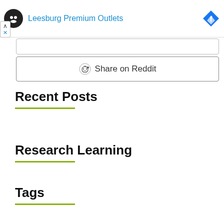[Figure (other): Advertisement banner for Leesburg Premium Outlets with logo, title in blue, and Facebook icon. Includes ad controls (up arrow and X).]
[Figure (other): Share on Reddit button with Reddit alien icon, inside a rounded rectangle border.]
Recent Posts
Research Learning
Tags